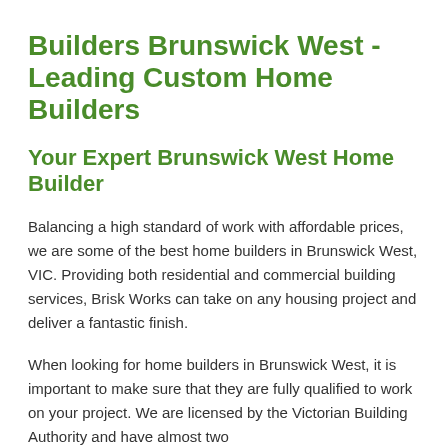Builders Brunswick West - Leading Custom Home Builders
Your Expert Brunswick West Home Builder
Balancing a high standard of work with affordable prices, we are some of the best home builders in Brunswick West, VIC. Providing both residential and commercial building services, Brisk Works can take on any housing project and deliver a fantastic finish.
When looking for home builders in Brunswick West, it is important to make sure that they are fully qualified to work on your project. We are licensed by the Victorian Building Authority and have almost two